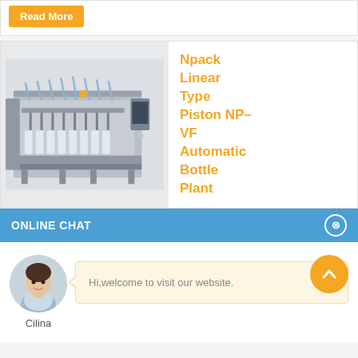Read More
[Figure (photo): Industrial linear type piston filling machine (Npack NP-VF) — stainless steel multi-head automatic bottle filling plant]
Npack Linear Type Piston NP-VF Automatic Bottle Plant
ONLINE CHAT
[Figure (photo): Avatar photo of a female customer service representative named Cilina]
Cilina
Hi,welcome to visit our website.